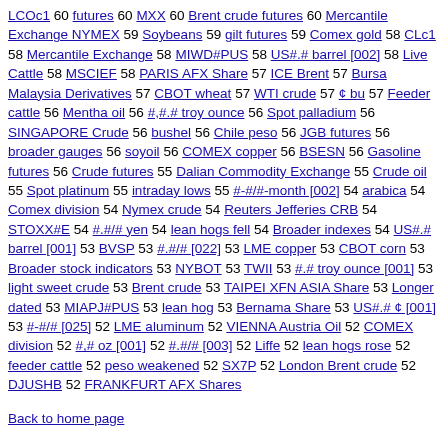LCOc1 60 futures 60 MXX 60 Brent crude futures 60 Mercantile Exchange NYMEX 59 Soybeans 59 gilt futures 59 Comex gold 58 CLc1 58 Mercantile Exchange 58 MIWD#PUS 58 US#.# barrel [002] 58 Live Cattle 58 MSCIEF 58 PARIS AFX Share 57 ICE Brent 57 Bursa Malaysia Derivatives 57 CBOT wheat 57 WTI crude 57 ¢ bu 57 Feeder cattle 56 Mentha oil 56 #,#.# troy ounce 56 Spot palladium 56 SINGAPORE Crude 56 bushel 56 Chile peso 56 JGB futures 56 broader gauges 56 soyoil 56 COMEX copper 56 BSESN 56 Gasoline futures 56 Crude futures 55 Dalian Commodity Exchange 55 Crude oil 55 Spot platinum 55 intraday lows 55 #-#/#-month [002] 54 arabica 54 Comex division 54 Nymex crude 54 Reuters Jefferies CRB 54 STOXX#E 54 #.#/# yen 54 lean hogs fell 54 Broader indexes 54 US#.# barrel [001] 53 BVSP 53 #.#/# [022] 53 LME copper 53 CBOT corn 53 Broader stock indicators 53 NYBOT 53 TWII 53 #.# troy ounce [001] 53 light sweet crude 53 Brent crude 53 TAIPEI XFN ASIA Share 53 Longer dated 53 MIAPJ#PUS 53 lean hog 53 Bernama Share 53 US#.# ¢ [001] 53 #-#/# [025] 52 LME aluminum 52 VIENNA Austria Oil 52 COMEX division 52 #,# oz [001] 52 #.#/# [003] 52 Liffe 52 lean hogs rose 52 feeder cattle 52 peso weakened 52 SX7P 52 London Brent crude 52 DJUSHB 52 FRANKFURT AFX Shares
Back to home page